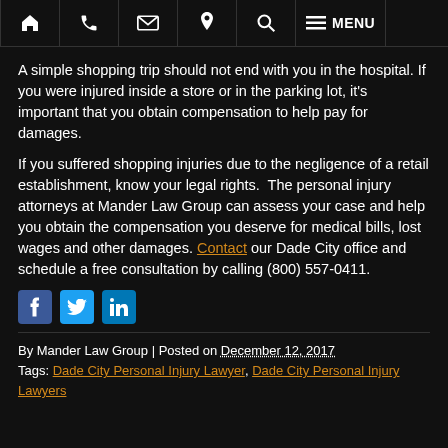Navigation bar with home, phone, email, location, search, and MENU icons
A simple shopping trip should not end with you in the hospital. If you were injured inside a store or in the parking lot, it's important that you obtain compensation to help pay for damages.
If you suffered shopping injuries due to the negligence of a retail establishment, know your legal rights.  The personal injury attorneys at Mander Law Group can assess your case and help you obtain the compensation you deserve for medical bills, lost wages and other damages. Contact our Dade City office and schedule a free consultation by calling (800) 557-0411.
[Figure (other): Social media share icons: Facebook (blue), Twitter (light blue), LinkedIn (blue)]
By Mander Law Group | Posted on December 12, 2017
Tags: Dade City Personal Injury Lawyer, Dade City Personal Injury Lawyers